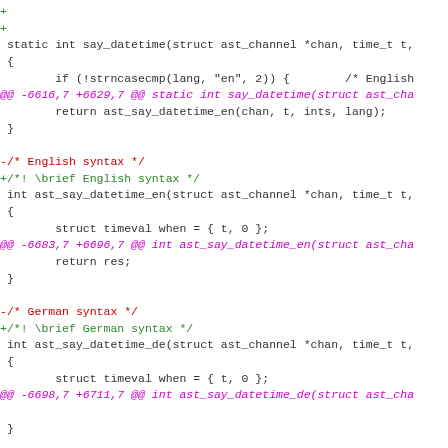[Figure (screenshot): Diff/patch view of C source code showing changes to say_datetime functions for English, German, and Hungarian syntax, with added lines in green, removed lines in red, and hunk headers in purple/magenta monospace font.]